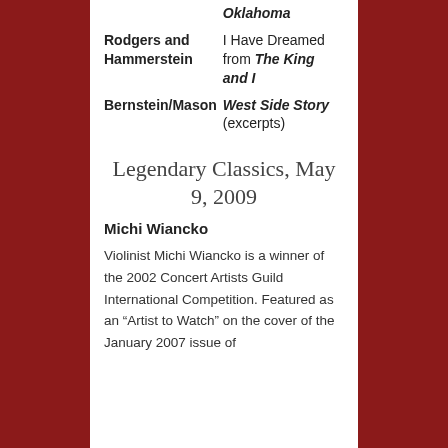| Composer | Work |
| --- | --- |
| Rodgers and Hammerstein | I Have Dreamed from The King and I |
| Bernstein/Mason | West Side Story (excerpts) |
Legendary Classics, May 9, 2009
Michi Wiancko
Violinist Michi Wiancko is a winner of the 2002 Concert Artists Guild International Competition. Featured as an “Artist to Watch” on the cover of the January 2007 issue of